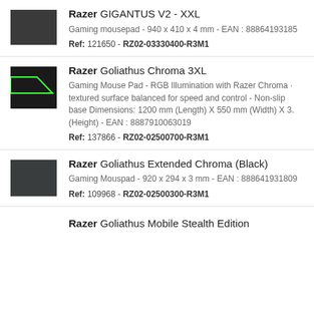Razer GIGANTUS V2 - XXL
Gaming mousepad - 940 x 410 x 4 mm - EAN : 88864193185...
Ref: 121650 - RZ02-03330400-R3M1
Razer Goliathus Chroma 3XL
Gaming Mouse Pad - RGB Illumination with Razer Chroma ... textured surface balanced for speed and control - Non-slip base Dimensions: 1200 mm (Length) X 550 mm (Width) X 3... (Height) - EAN : 8887910063019
Ref: 137866 - RZ02-02500700-R3M1
Razer Goliathus Extended Chroma (Black)
Gaming Mouspad - 920 x 294 x 3 mm - EAN : 888641931809...
Ref: 109968 - RZ02-02500300-R3M1
Razer Goliathus Mobile Stealth Edition